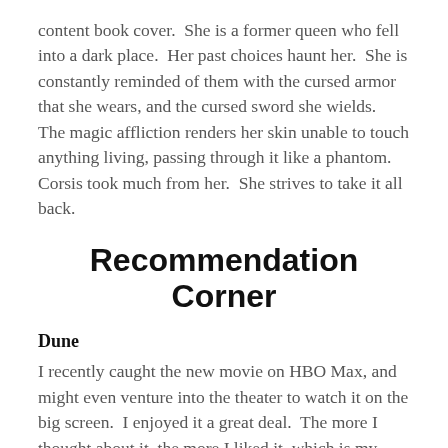content book cover.  She is a former queen who fell into a dark place.  Her past choices haunt her.  She is constantly reminded of them with the cursed armor that she wears, and the cursed sword she wields.  The magic affliction renders her skin unable to touch anything living, passing through it like a phantom.  Corsis took much from her.  She strives to take it all back.
Recommendation Corner
Dune
I recently caught the new movie on HBO Max, and might even venture into the theater to watch it on the big screen.  I enjoyed it a great deal.  The more I thought about it, the more I liked it, which is my favorite outcome of any media I consume.  The effects, the cinematography, direction, writing, and acting are all top notch.  It is a bit dense, so it's not for everyone.  I will also say that it is truly odd to see Jason Momoa without a beard.  I finally pulled out the book and am working my